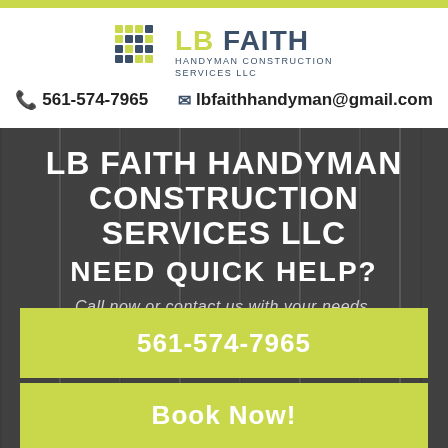[Figure (logo): LB Faith Handyman Construction Services LLC logo with colorful grid dots and teal/dark blue text]
561-574-7965   lbfaithhandyman@gmail.com
LB FAITH HANDYMAN CONSTRUCTION SERVICES LLC NEED QUICK HELP?
Call now or contact us with your needs.
561-574-7965
Book Now!